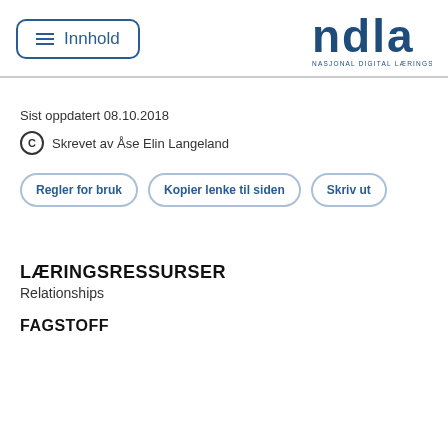Innhold | NDLA NASJONAL DIGITAL LÆRINGSARENA
Sist oppdatert 08.10.2018
© Skrevet av Åse Elin Langeland
Regler for bruk | Kopier lenke til siden | Skriv ut
LÆRINGSRESSURSER
Relationships
FAGSTOFF